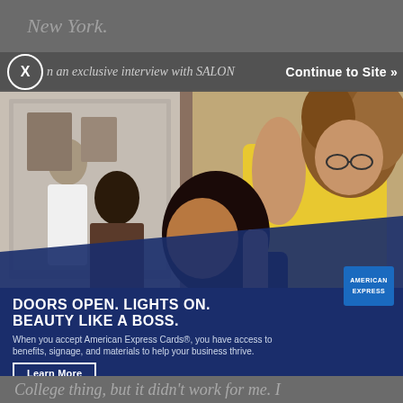New York.
n an exclusive interview with SALON
Continue to Site »
[Figure (photo): Salon scene showing a hairstylist in a yellow shirt with curly hair blow-drying a client's long dark hair. Another person is visible in the mirror in the background.]
DOORS OPEN. LIGHTS ON. BEAUTY LIKE A BOSS.
When you accept American Express Cards®, you have access to benefits, signage, and materials to help your business thrive.
Learn More
[Figure (logo): American Express logo — blue square with white text reading AMERICAN EXPRESS]
College thing, but it didn’t work for me. I